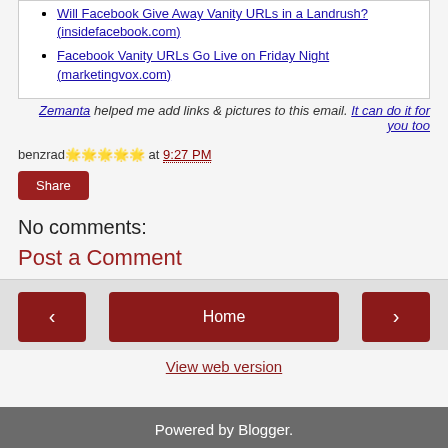Will Facebook Give Away Vanity URLs in a Landrush? (insidefacebook.com)
Facebook Vanity URLs Go Live on Friday Night (marketingvox.com)
Zemanta helped me add links & pictures to this email. It can do it for you too
benzrad🌟🌟🌟🌟🌟 at 9:27 PM
Share
No comments:
Post a Comment
◄  Home  ►
View web version
Powered by Blogger.